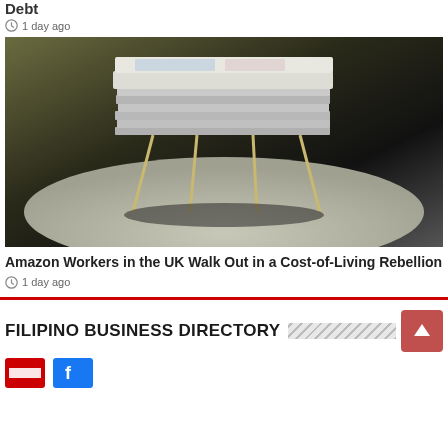Debt
1 day ago
[Figure (photo): Stack of banknotes (British pounds) propped up on thin sticks/legs on a table, symbolizing unstable debt]
Amazon Workers in the UK Walk Out in a Cost-of-Living Rebellion
1 day ago
FILIPINO BUSINESS DIRECTORY